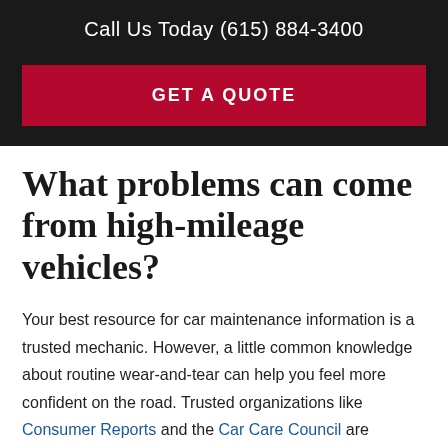Call Us Today (615) 884-3400
GET A QUOTE
What problems can come from high-mileage vehicles?
Your best resource for car maintenance information is a trusted mechanic. However, a little common knowledge about routine wear-and-tear can help you feel more confident on the road. Trusted organizations like Consumer Reports and the Car Care Council are